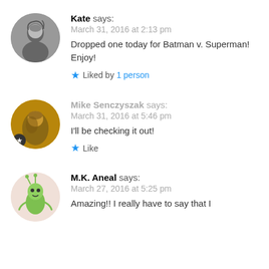[Figure (photo): Circular avatar photo of Kate, black and white photo of a person]
Kate says:
March 31, 2016 at 2:13 pm
Dropped one today for Batman v. Superman! Enjoy!
★ Liked by 1 person
[Figure (photo): Circular avatar photo of Mike Senczyszak, dark yellow-toned photo with star badge]
Mike Senczyszak says:
March 31, 2016 at 5:46 pm
I'll be checking it out!
★ Like
[Figure (illustration): Circular avatar of M.K. Aneal, cartoon green alien/creature illustration on light pink background]
M.K. Aneal says:
March 27, 2016 at 5:25 pm
Amazing!! I really have to say that I...